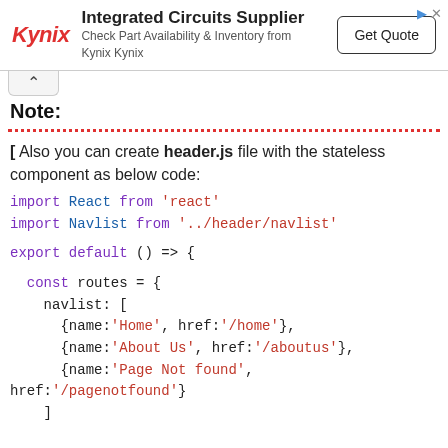[Figure (other): Kynix advertisement banner: Integrated Circuits Supplier, Check Part Availability & Inventory from Kynix Kynix, Get Quote button]
Note:
[ Also you can create header.js file with the stateless component as below code:
import React from 'react'
import Navlist from '../header/navlist'

export default () => {

  const routes = {
    navlist: [
      {name:'Home', href:'/home'},
      {name:'About Us', href:'/aboutus'},
      {name:'Page Not found', href:'/pagenotfound'}
    ]